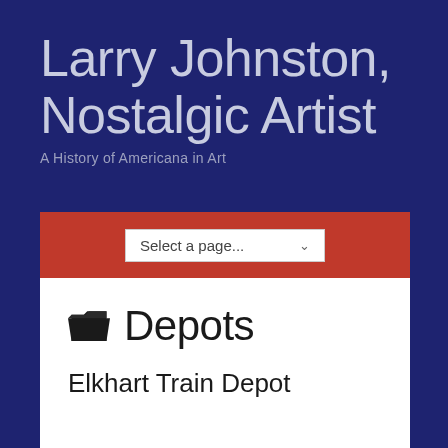Larry Johnston, Nostalgic Artist
A History of Americana in Art
Select a page...
Depots
Elkhart Train Depot